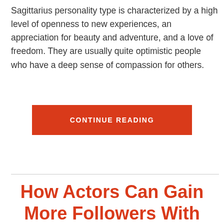Sagittarius personality type is characterized by a high level of openness to new experiences, an appreciation for beauty and adventure, and a love of freedom. They are usually quite optimistic people who have a deep sense of compassion for others.
[Figure (other): Orange/red button with white uppercase text reading CONTINUE READING]
How Actors Can Gain More Followers With Social Media